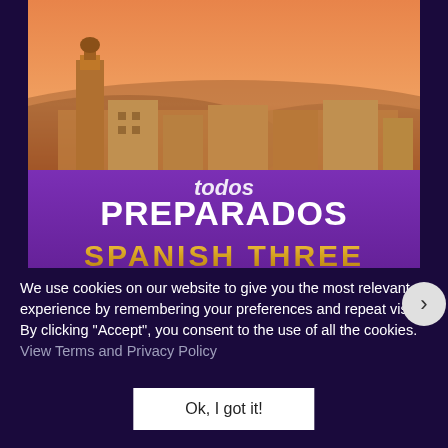[Figure (illustration): Product thumbnail for 'Todos Preparados – Spanish Three Lesson Plans' showing a purple background with gold and white text, and a Spanish cityscape with orange sunset sky in the top portion. A navigation arrow button is visible on the right.]
We use cookies on our website to give you the most relevant experience by remembering your preferences and repeat visits. By clicking "Accept", you consent to the use of all the cookies. View Terms and Privacy Policy
Ok, I got it!